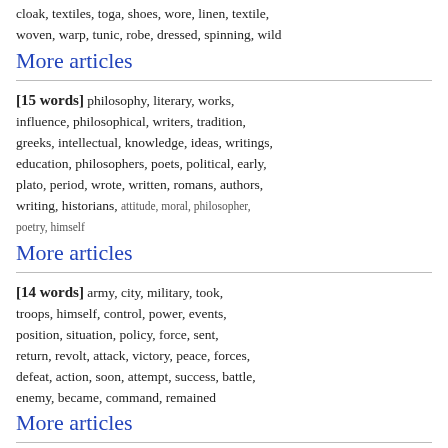cloak, textiles, toga, shoes, wore, linen, textile, woven, warp, tunic, robe, dressed, spinning, wild
More articles
[15 words] philosophy, literary, works, influence, philosophical, writers, tradition, greeks, intellectual, knowledge, ideas, writings, education, philosophers, poets, political, early, plato, period, wrote, written, romans, authors, writing, historians, attitude, moral, philosopher, poetry, himself
More articles
[14 words] army, city, military, took, troops, himself, control, power, events, position, situation, policy, force, sent, return, revolt, attack, victory, peace, forces, defeat, action, soon, attempt, success, battle, enemy, became, command, remained
More articles
[14 words] soph, sense, jebb, aeschylus, aesch, euripides, sophocles, text, line, reading, fraenkel, hermann, wilamowitz, wecklein, diggle, passage, murray, word, bion, editors, codd, page,